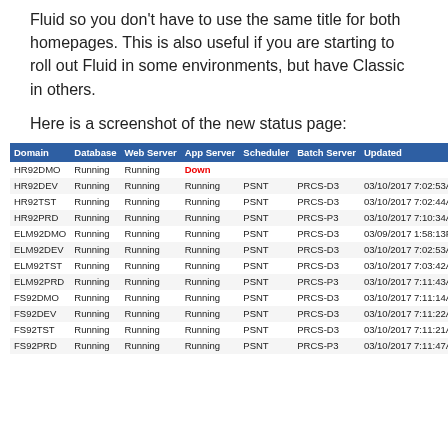Fluid so you don't have to use the same title for both homepages. This is also useful if you are starting to roll out Fluid in some environments, but have Classic in others.
Here is a screenshot of the new status page:
[Figure (screenshot): Screenshot of a system status page table showing domain, database, web server, app server, scheduler, batch server, updated, and batch status columns for multiple environments (HR92DMO, HR92DEV, HR92TST, HR92PRD, ELM92DMO, ELM92DEV, ELM92TST, ELM92PRD, FS92DMO, FS92DEV, FS92TST, FS92PRD)]